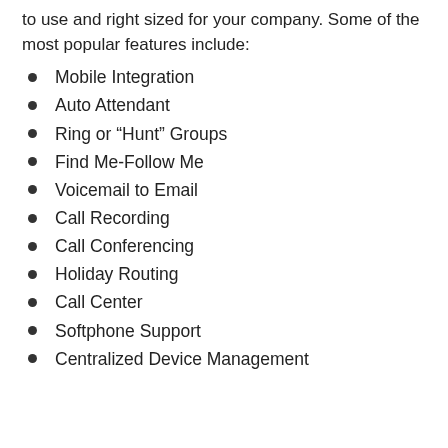to use and right sized for your company. Some of the most popular features include:
Mobile Integration
Auto Attendant
Ring or “Hunt” Groups
Find Me-Follow Me
Voicemail to Email
Call Recording
Call Conferencing
Holiday Routing
Call Center
Softphone Support
Centralized Device Management